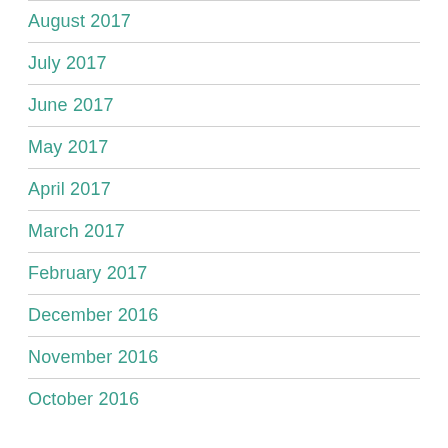August 2017
July 2017
June 2017
May 2017
April 2017
March 2017
February 2017
December 2016
November 2016
October 2016